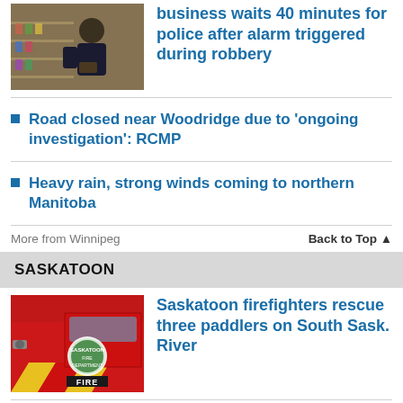[Figure (photo): Man standing in a store with shelves of products behind him]
business waits 40 minutes for police after alarm triggered during robbery
Road closed near Woodridge due to 'ongoing investigation': RCMP
Heavy rain, strong winds coming to northern Manitoba
More from Winnipeg
Back to Top ▲
SASKATOON
[Figure (photo): Saskatoon fire truck with fire department emblem]
Saskatoon firefighters rescue three paddlers on South Sask. River
'It felt like a dream': Sask. Backstreet Boys